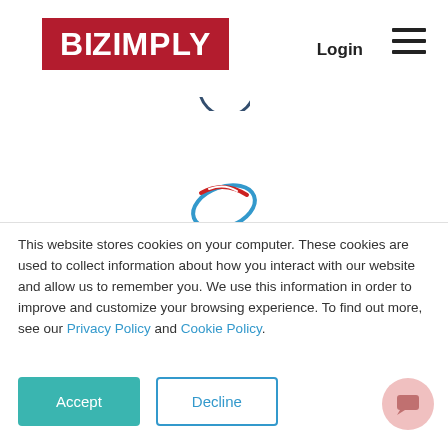[Figure (logo): Bizimply logo — white text on red/dark-red background]
Login
[Figure (logo): Quantum Payroll logo — oval swoosh with red, blue, white colors and text 'quantum payroll']
This website stores cookies on your computer. These cookies are used to collect information about how you interact with our website and allow us to remember you. We use this information in order to improve and customize your browsing experience. To find out more, see our Privacy Policy and Cookie Policy.